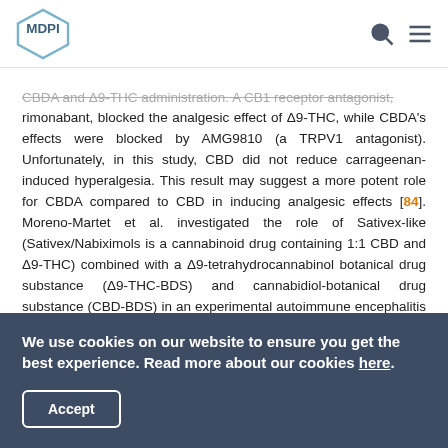MDPI [logo] [search] [menu]
CBDA and Δ9-THC administration. A CB1 receptor antagonist, rimonabant, blocked the analgesic effect of Δ9-THC, while CBDA's effects were blocked by AMG9810 (a TRPV1 antagonist). Unfortunately, in this study, CBD did not reduce carrageenan-induced hyperalgesia. This result may suggest a more potent role for CBDA compared to CBD in inducing analgesic effects [84]. Moreno-Martet et al. investigated the role of Sativex-like (Sativex/Nabiximols is a cannabinoid drug containing 1:1 CBD and Δ9-THC) combined with a Δ9-tetrahydrocannabinol botanical drug substance (Δ9-THC-BDS) and cannabidiol-botanical drug substance (CBD-BDS) in an experimental autoimmune encephalitis (EAE) model of multiple sclerosis in mice. Results demonstrated that the Sativex-like
We use cookies on our website to ensure you get the best experience. Read more about our cookies here.
Accept